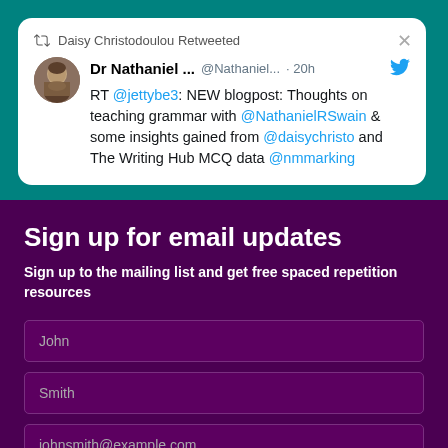[Figure (screenshot): Twitter/X card: Daisy Christodoulou Retweeted. Dr Nathaniel ... @Nathaniel... · 20h. RT @jettybe3: NEW blogpost: Thoughts on teaching grammar with @NathanielRSwain & some insights gained from @daisychristo and The Writing Hub MCQ data @nmmarking]
Sign up for email updates
Sign up to the mailing list and get free spaced repetition resources